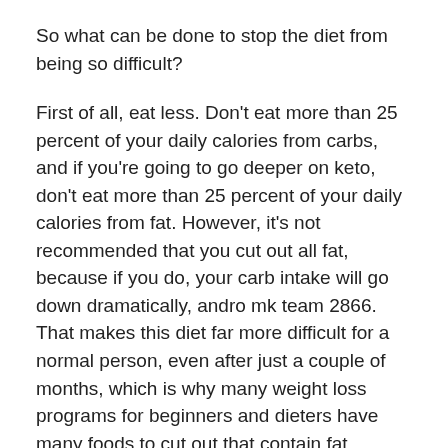So what can be done to stop the diet from being so difficult?
First of all, eat less. Don't eat more than 25 percent of your daily calories from carbs, and if you're going to go deeper on keto, don't eat more than 25 percent of your daily calories from fat. However, it's not recommended that you cut out all fat, because if you do, your carb intake will go down dramatically, andro mk team 2866. That makes this diet far more difficult for a normal person, even after just a couple of months, which is why many weight loss programs for beginners and dieters have many foods to cut out that contain fat.
Secondly, avoid sugary foods altogether, winstrol que es. In spite of what you might've heard, sugar is a powerful appetite suppressant and it can cut your